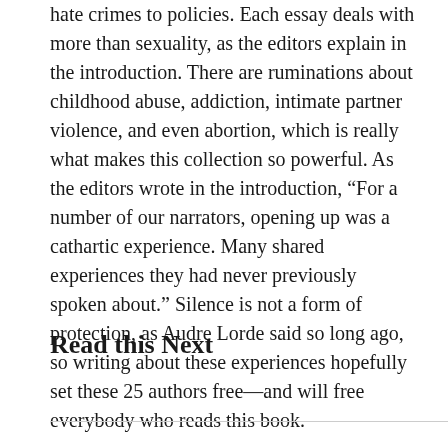hate crimes to policies. Each essay deals with more than sexuality, as the editors explain in the introduction. There are ruminations about childhood abuse, addiction, intimate partner violence, and even abortion, which is really what makes this collection so powerful. As the editors wrote in the introduction, “For a number of our narrators, opening up was a cathartic experience. Many shared experiences they had never previously spoken about.” Silence is not a form of protection, as Audre Lorde said so long ago, so writing about these experiences hopefully set these 25 authors free—and will free everybody who reads this book.
Read this Next